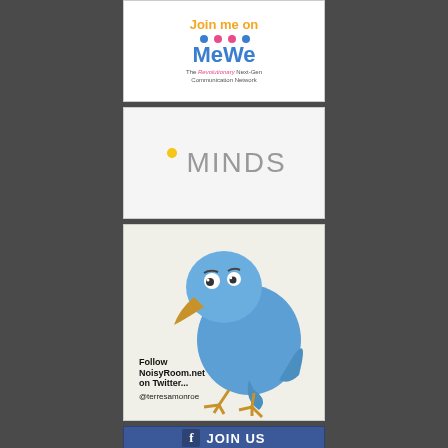[Figure (logo): MeWe social network banner with 'Join me on MeWe - The Revolutionary Next-Gen Communication Network']
[Figure (logo): Minds social network logo with lightbulb icon]
[Figure (illustration): Cartoon blue Twitter bird with 'Follow NoisyRoom.net on Twitter... @terresamonroe']
[Figure (logo): Facebook 'JOIN US' banner with Facebook logo icon]